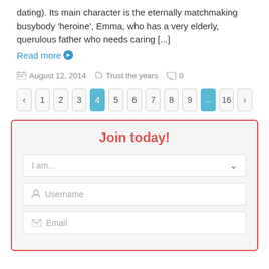dating). Its main character is the eternally matchmaking busybody 'heroine', Emma, who has a very elderly, querulous father who needs caring [...]
Read more ➔
August 12, 2014   Trust the years   0
< 1 2 3 4 5 6 7 8 9 ... 16 >
Join today!
I am...
Username
Email